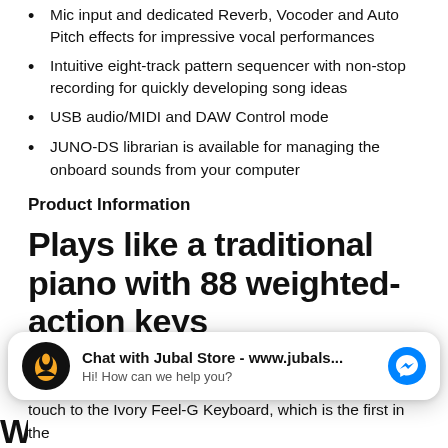Mic input and dedicated Reverb, Vocoder and Auto Pitch effects for impressive vocal performances
Intuitive eight-track pattern sequencer with non-stop recording for quickly developing song ideas
USB audio/MIDI and DAW Control mode
JUNO-DS librarian is available for managing the onboard sounds from your computer
Product Information
Plays like a traditional piano with 88 weighted-action keys
When a keyboard feels good beneath your fingers, it inspires you to write better songs, play tighter shows and
[Figure (screenshot): Chat widget overlay: Jubal Store chat popup with logo, 'Chat with Jubal Store - www.jubals...' title, 'Hi! How can we help you?' subtitle, and Facebook Messenger icon]
touch to the Ivory Feel-G Keyboard, which is the first in the